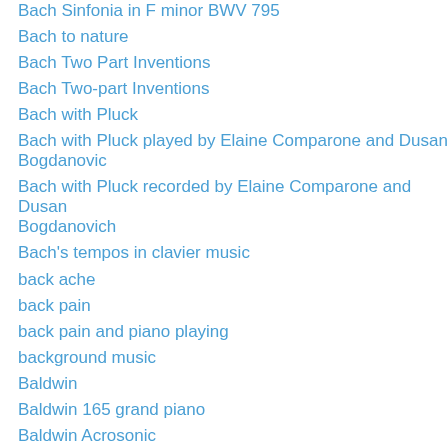Bach Sinfonia in F minor BWV 795
Bach to nature
Bach Two Part Inventions
Bach Two-part Inventions
Bach with Pluck
Bach with Pluck played by Elaine Comparone and Dusan Bogdanovic
Bach with Pluck recorded by Elaine Comparone and Dusan Bogdanovich
Bach's tempos in clavier music
back ache
back pain
back pain and piano playing
background music
Baldwin
Baldwin 165 grand piano
Baldwin Acrosonic
Baldwin Acrosonic piano
Baldwin Artist grand piano
Baldwin grand piano
Baldwin Hamilton 1929 grand piano